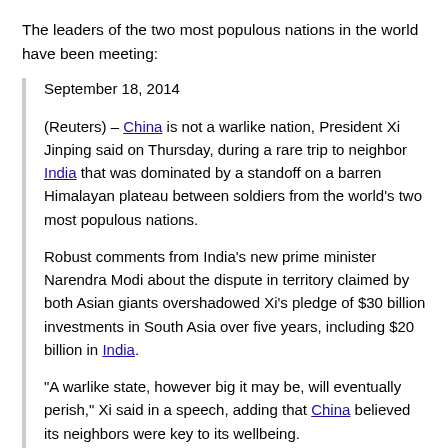The leaders of the two most populous nations in the world have been meeting:
September 18, 2014
(Reuters) – China is not a warlike nation, President Xi Jinping said on Thursday, during a rare trip to neighbor India that was dominated by a standoff on a barren Himalayan plateau between soldiers from the world’s two most populous nations.
Robust comments from India’s new prime minister Narendra Modi about the dispute in territory claimed by both Asian giants overshadowed Xi’s pledge of $30 billion investments in South Asia over five years, including $20 billion in India.
“A warlike state, however big it may be, will eventually perish,” Xi said in a speech, adding that China believed its neighbors were key to its wellbeing.
He said China was committed to the path of peaceful development, addressing concerns in Asia about Beijing’s increasingly assertive territorial claims including in the South China Sea, a vital global trade route.
But the mood was stern when Modi and Xi emerged from a long meeting to address reporters soon after officials confirmed that soldiers had pulled back from their positions in a western Himalayan region